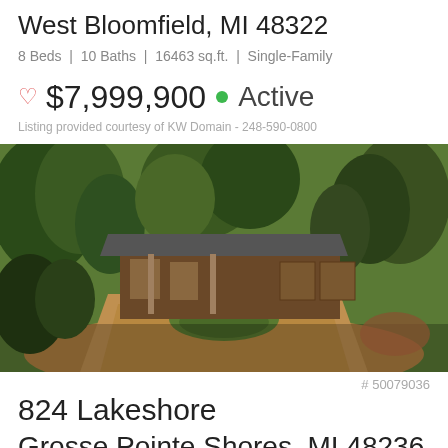West Bloomfield, MI 48322
8 Beds | 10 Baths | 16463 sq.ft. | Single-Family
♡ $7,999,900 ● Active
Listing provided courtesy of KW Domain - 248-590-0800
[Figure (photo): Aerial driveway view of a large estate home with lush green trees and landscaping, circular drive, brick exterior]
# 50079036
824 Lakeshore
Grosse Pointe Shores, MI 48236
3 Beds | 5 Baths | 5490 sq.ft. | Single-Family